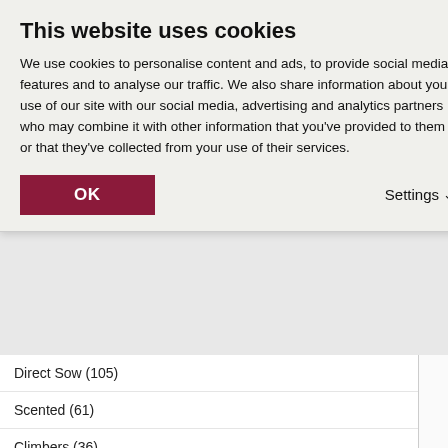This website uses cookies
We use cookies to personalise content and ads, to provide social media features and to analyse our traffic. We also share information about your use of our site with our social media, advertising and analytics partners who may combine it with other information that you've provided to them or that they've collected from your use of their services.
Direct Sow (105)
Scented (61)
Climbers (36)
Cut Flowers (58)
Sign Up Today!
Subscribe to our free mailing list to receive our newsletters and updates on new wholesale products.
|  | Growing |  |
| --- | --- | --- |
| Growing | Grow on the se… September … glasshouse c… |  |
| Flowering Period |  |  |
| Hardiness |  |  |
| Cropping |  |  |
| Zone us |  |  |
Classification
|  | Product |  |
| --- | --- | --- |